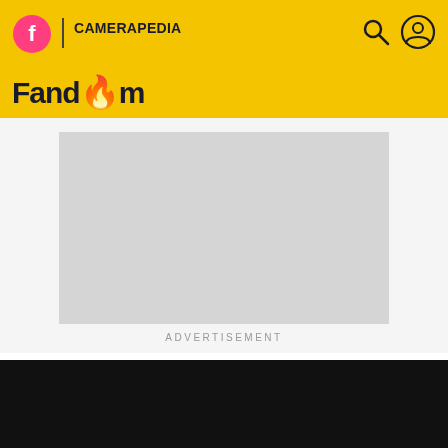Fandom | Camerapedia
[Figure (other): Advertisement placeholder box (grey rectangle)]
ADVERTISEMENT
CAMERAPEDIA
Wester 6Ã–6 folders
EDIT